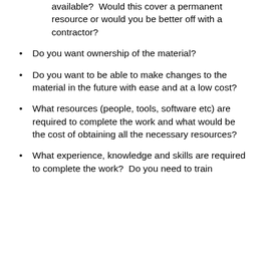available?  Would this cover a permanent resource or would you be better off with a contractor?
Do you want ownership of the material?
Do you want to be able to make changes to the material in the future with ease and at a low cost?
What resources (people, tools, software etc) are required to complete the work and what would be the cost of obtaining all the necessary resources?
What experience, knowledge and skills are required to complete the work?  Do you need to train